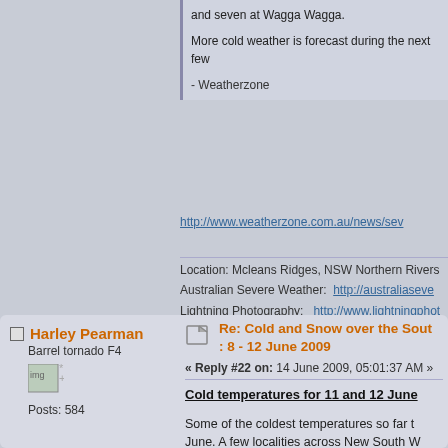and seven at Wagga Wagga.
More cold weather is forecast during the next few
- Weatherzone
http://www.weatherzone.com.au/news/sev
Location: Mcleans Ridges, NSW Northern Rivers
Australian Severe Weather: http://australiaseve
Lightning Photography: http://www.lightningphot
Early Warning Network: http://www.ewn.com.au
Contact: Michael Bath
Re: Cold and Snow over the Sout : 8 - 12 June 2009
« Reply #22 on: 14 June 2009, 05:01:37 AM »
Cold temperatures for 11 and 12 June
Some of the coldest temperatures so far t June. A few localities across New South W Weatherzone showing the minimum and m
Harley Pearman
Barrel tornado F4
Posts: 584